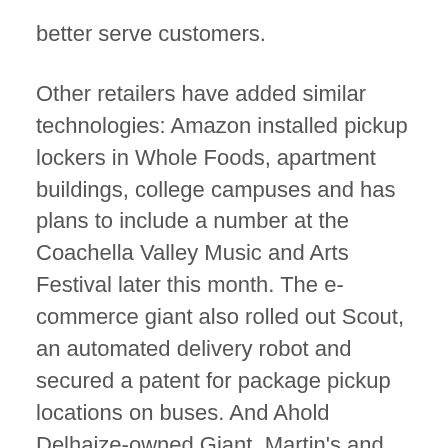better serve customers.
Other retailers have added similar technologies: Amazon installed pickup lockers in Whole Foods, apartment buildings, college campuses and has plans to include a number at the Coachella Valley Music and Arts Festival later this month. The e-commerce giant also rolled out Scout, an automated delivery robot and secured a patent for package pickup locations on buses. And Ahold Delhaize-owned Giant, Martin's and Stop & Shop added "Marty," an automated shelf-scanning robot to its workforce earlier this year.
While it remains unclear whether robots will replace a significant number of human jobs, it appears the implementation of the technology isn't slowing down.